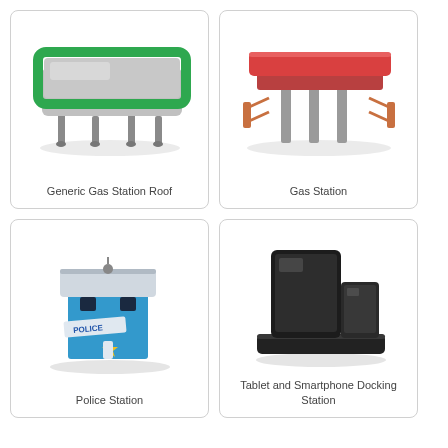[Figure (illustration): 3D illustration of a Generic Gas Station Roof - a flat rectangular green-bordered table-like canopy structure with grey legs]
Generic Gas Station Roof
[Figure (illustration): 3D illustration of a Gas Station - a red flat roof canopy with grey support columns and orange/copper fuel pump structures hanging from sides]
Gas Station
[Figure (illustration): 3D illustration of a Police Station - a small blue building with white roof, police sign, star emblem, windows, and security camera]
Police Station
[Figure (illustration): 3D illustration of a Tablet and Smartphone Docking Station - a dark grey/black docking station holding a large tablet and a smaller smartphone]
Tablet and Smartphone Docking Station